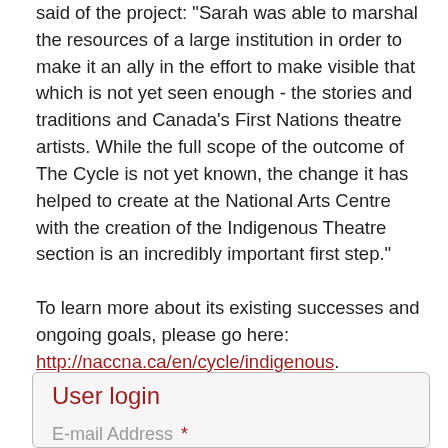said of the project: "Sarah was able to marshal the resources of a large institution in order to make it an ally in the effort to make visible that which is not yet seen enough - the stories and traditions and Canada's First Nations theatre artists. While the full scope of the outcome of The Cycle is not yet known, the change it has helped to create at the National Arts Centre with the creation of the Indigenous Theatre section is an incredibly important first step."
To learn more about its existing successes and ongoing goals, please go here: http://naccna.ca/en/cycle/indigenous.
User login
E-mail Address *